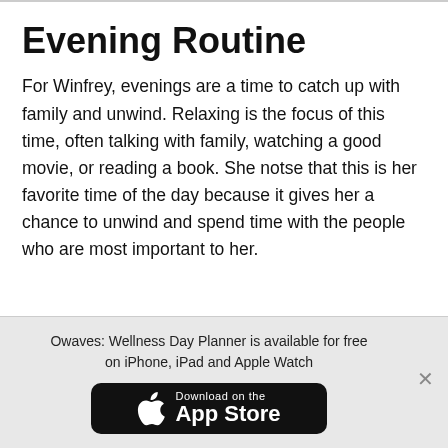Evening Routine
For Winfrey, evenings are a time to catch up with family and unwind. Relaxing is the focus of this time, often talking with family, watching a good movie, or reading a book. She notse that this is her favorite time of the day because it gives her a chance to unwind and spend time with the people who are most important to her.
Owaves: Wellness Day Planner is available for free on iPhone, iPad and Apple Watch
[Figure (logo): Download on the App Store button — black rounded rectangle with Apple logo and text 'Download on the App Store']